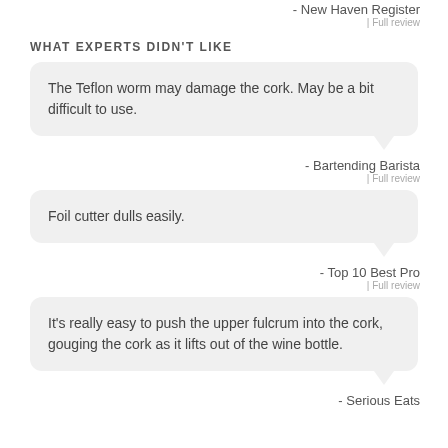- New Haven Register
| Full review
WHAT EXPERTS DIDN'T LIKE
The Teflon worm may damage the cork. May be a bit difficult to use.
- Bartending Barista
| Full review
Foil cutter dulls easily.
- Top 10 Best Pro
| Full review
It's really easy to push the upper fulcrum into the cork, gouging the cork as it lifts out of the wine bottle.
- Serious Eats